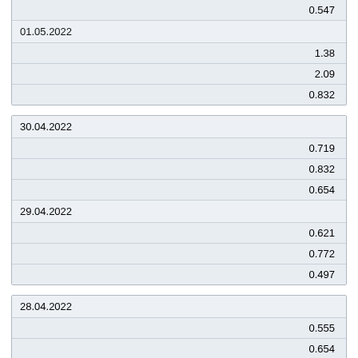|  | 0.547 |
| 01.05.2022 |  |
|  | 1.38 |
|  | 2.09 |
|  | 0.832 |
| 30.04.2022 |  |
|  | 0.719 |
|  | 0.832 |
|  | 0.654 |
| 29.04.2022 |  |
|  | 0.621 |
|  | 0.772 |
|  | 0.497 |
| 28.04.2022 |  |
|  | 0.555 |
|  | 0.654 |
|  | 0.497 |
| 27.04.2022 |  |
|  | 0.747 |